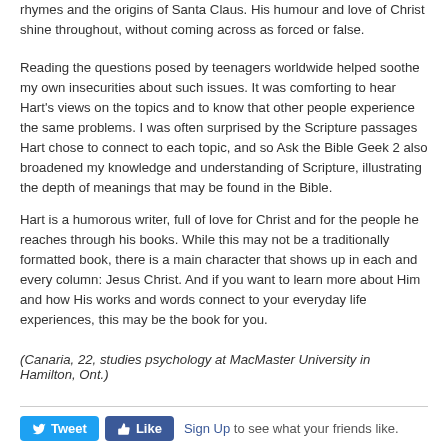rhymes and the origins of Santa Claus. His humour and love of Christ shine throughout, without coming across as forced or false.
Reading the questions posed by teenagers worldwide helped soothe my own insecurities about such issues. It was comforting to hear Hart's views on the topics and to know that other people experience the same problems. I was often surprised by the Scripture passages Hart chose to connect to each topic, and so Ask the Bible Geek 2 also broadened my knowledge and understanding of Scripture, illustrating the depth of meanings that may be found in the Bible.
Hart is a humorous writer, full of love for Christ and for the people he reaches through his books. While this may not be a traditionally formatted book, there is a main character that shows up in each and every column: Jesus Christ. And if you want to learn more about Him and how His works and words connect to your everyday life experiences, this may be the book for you.
(Canaria, 22, studies psychology at MacMaster University in Hamilton, Ont.)